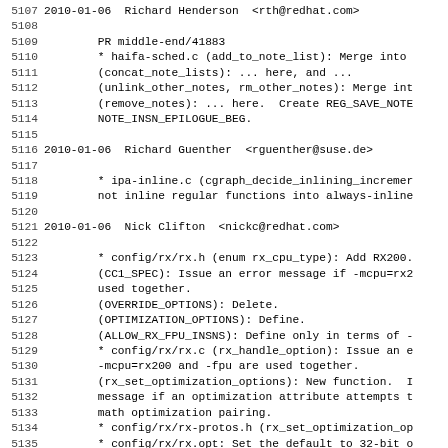Source code changelog / version control log showing entries for 2010-01-06 with authors Richard Henderson, Richard Guenther, and Nick Clifton, lines 5107-5138